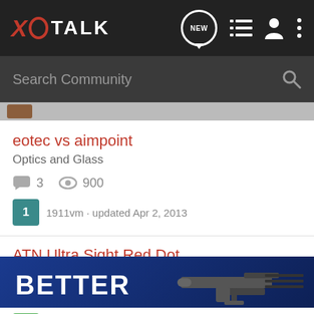XO TALK
Search Community
eotec vs aimpoint
Optics and Glass
3 replies · 900 views
1911vm · updated Apr 2, 2013
ATN Ultra Sight Red Dot
AR Talk
21 replies · 6K views
am... · updated Mar 24, 2013
[Figure (photo): Advertisement banner showing 'BETTER' text with a firearm image on blue background]